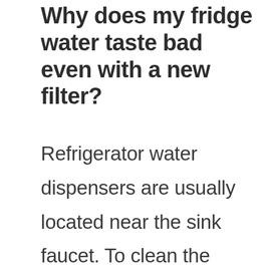Why does my fridge water taste bad even with a new filter?
Refrigerator water dispensers are usually located near the sink faucet. To clean the refrigerator water dispenser, simply turn off the water supply to the sink and run cold water into the dispenser until the water stops flowing